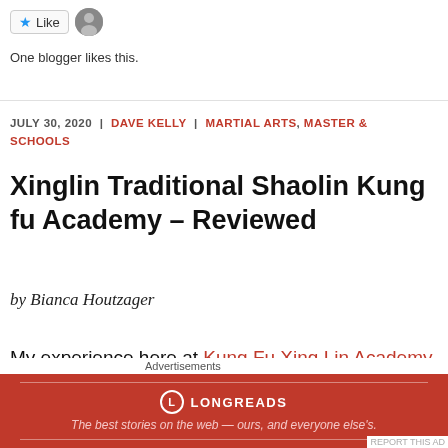[Figure (other): Like button with star icon and user avatar thumbnail]
One blogger likes this.
JULY 30, 2020  |  DAVE KELLY  |  MARTIAL ARTS, MASTER & SCHOOLS
Xinglin Traditional Shaolin Kung fu Academy – Reviewed
by Bianca Houtzager
My experience here at Kung Fu Xing Lin Academy has been more amazing and rewarding than I
[Figure (screenshot): Longreads advertisement banner: red background with logo and tagline 'The best stories on the web — ours, and everyone else's.']